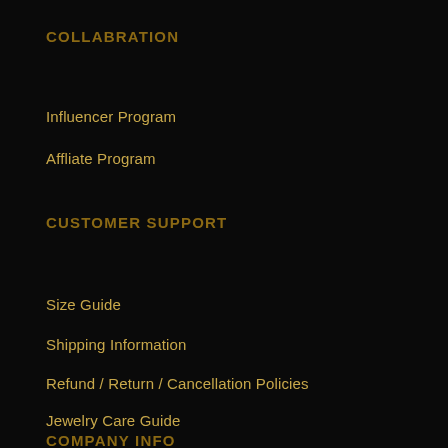COLLABRATION
Influencer Program
Affliate Program
CUSTOMER SUPPORT
Size Guide
Shipping Information
Refund / Return / Cancellation Policies
Jewelry Care Guide
Warranty Policy
COMPANY INFO